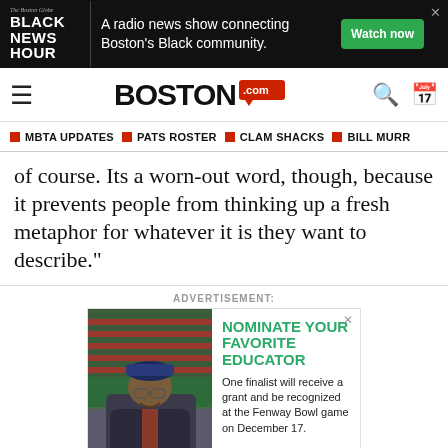[Figure (screenshot): Black News Hour advertisement banner: A radio news show connecting Boston's Black community. Watch now button.]
BOSTON.com
MBTA UPDATES
PATS ROSTER
CLAM SHACKS
BILL MURR
of course. Its a worn-out word, though, because it prevents people from thinking up a fresh metaphor for whatever it is they want to describe."
ADVERTISEMENT:
[Figure (photo): Advertisement: Man smiling at Fenway Park. Nominate Your Favorite Educator. One finalist will receive a grant and be recognized at the Fenway Bowl game on December 17.]